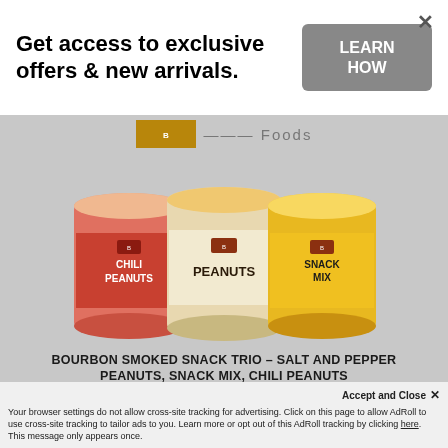Get access to exclusive offers & new arrivals.
LEARN HOW
[Figure (photo): Three Bourbon Barrel Foods snack tins side by side: red can labeled Chili Peanuts, cream/white can labeled Peanuts, yellow can labeled Snack Mix]
BOURBON SMOKED SNACK TRIO – SALT AND PEPPER PEANUTS, SNACK MIX, CHILI PEANUTS
$36.00
ADD TO CART
Accept and Close ✕
Your browser settings do not allow cross-site tracking for advertising. Click on this page to allow AdRoll to use cross-site tracking to tailor ads to you. Learn more or opt out of this AdRoll tracking by clicking here. This message only appears once.